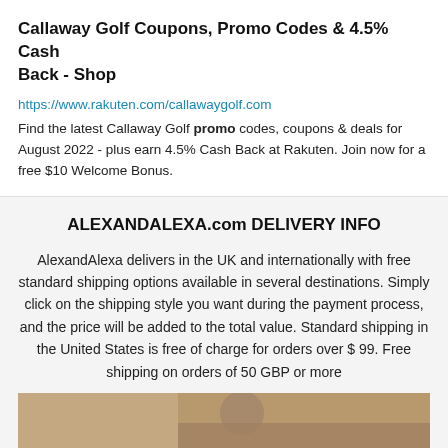Callaway Golf Coupons, Promo Codes & 4.5% Cash Back - Shop
https://www.rakuten.com/callawaygolf.com
Find the latest Callaway Golf promo codes, coupons & deals for August 2022 - plus earn 4.5% Cash Back at Rakuten. Join now for a free $10 Welcome Bonus.
ALEXANDALEXA.com DELIVERY INFO
AlexandAlexa delivers in the UK and internationally with free standard shipping options available in several destinations. Simply click on the shipping style you want during the payment process, and the price will be added to the total value. Standard shipping in the United States is free of charge for orders over $ 99. Free shipping on orders of 50 GBP or more
[Figure (photo): Partial photo visible at bottom of page, appears to show a person]